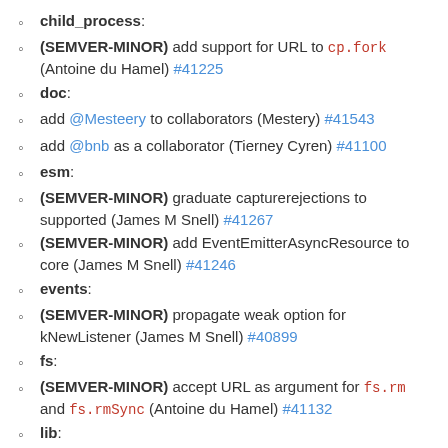child_process:
(SEMVER-MINOR) add support for URL to cp.fork (Antoine du Hamel) #41225
doc:
add @Mesteery to collaborators (Mestery) #41543
add @bnb as a collaborator (Tierney Cyren) #41100
esm:
(SEMVER-MINOR) graduate capturerejections to supported (James M Snell) #41267
(SEMVER-MINOR) add EventEmitterAsyncResource to core (James M Snell) #41246
events:
(SEMVER-MINOR) propagate weak option for kNewListener (James M Snell) #40899
fs:
(SEMVER-MINOR) accept URL as argument for fs.rm and fs.rmSync (Antoine du Hamel) #41132
lib:
(SEMVER-MINOR) make AbortSignal cloneable/transferable (James M Snell) #41050
(SEMVER-MINOR) add AbortSignal.timeout (James M Snell) #40899